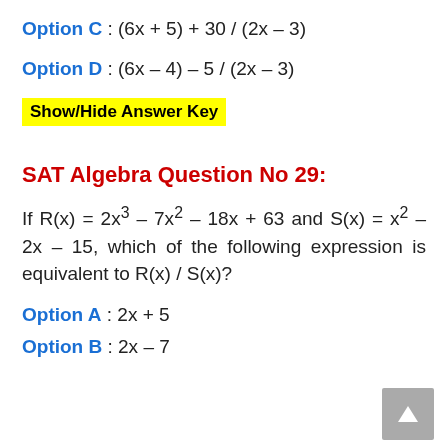Option C : (6x + 5) + 30 / (2x – 3)
Option D : (6x – 4) – 5 / (2x – 3)
Show/Hide Answer Key
SAT Algebra Question No 29:
If R(x) = 2x³ – 7x² – 18x + 63 and S(x) = x² – 2x – 15, which of the following expression is equivalent to R(x) / S(x)?
Option A : 2x + 5
Option B : 2x – 7